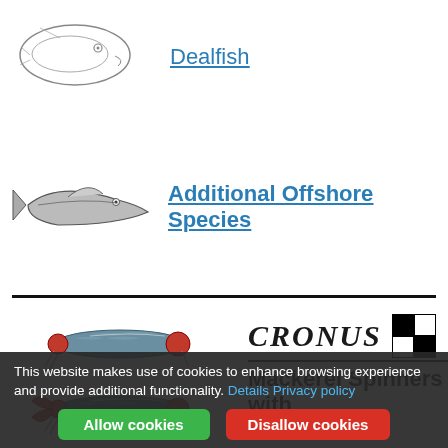[Figure (illustration): Sketch illustration of a Dealfish (flat elongated fish viewed from above)]
Dealfish
[Figure (illustration): Sketch illustration of a small elongated fish for Additional Offshore Species]
Additional Offshore Species
[Figure (illustration): Two fishing lure images (mackerel spinners) shown side by side with Cronus branding logo with checker pattern]
CRONUS
Mackerel Spinners with
This website makes use of cookies to enhance browsing experience and provide additional functionality. Details Privacy policy